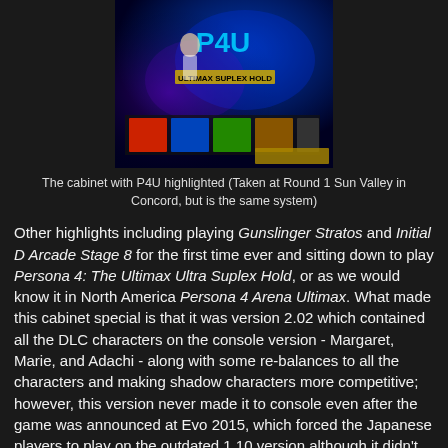[Figure (photo): A photo of an arcade cabinet with Persona 4 Ultimax (P4U) highlighted, showing a colorful anime-style fighting game screen with characters and game titles visible on the cabinet display.]
The cabinet with P4U highlighted (Taken at Round 1 Sun Valley in Concord, but is the same system)
Other highlights including playing Gunslinger Stratos and Initial D Arcade Stage 8 for the first time ever and sitting down to play Persona 4: The Ultimax Ultra Suplex Hold, or as we would know it in North America Persona 4 Arena Ultimax. What made this cabinet special is that it was version 2.02 which contained all the DLC characters on the console version - Margaret, Marie, and Adachi - along with some re-balances to all the characters and making shadow characters more competitive; however, this version never made it to console even after the game was announced at Evo 2015, which forced the Japanese players to play on the outdated 1.10 version although it didn't matter as the Japanese players occupied all of Top 8.